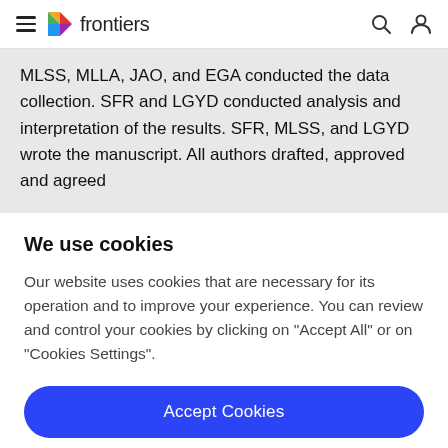frontiers
MLSS, MLLA, JAO, and EGA conducted the data collection. SFR and LGYD conducted analysis and interpretation of the results. SFR, MLSS, and LGYD wrote the manuscript. All authors drafted, approved and agreed
We use cookies
Our website uses cookies that are necessary for its operation and to improve your experience. You can review and control your cookies by clicking on "Accept All" or on "Cookies Settings".
Accept Cookies
Cookies Settings